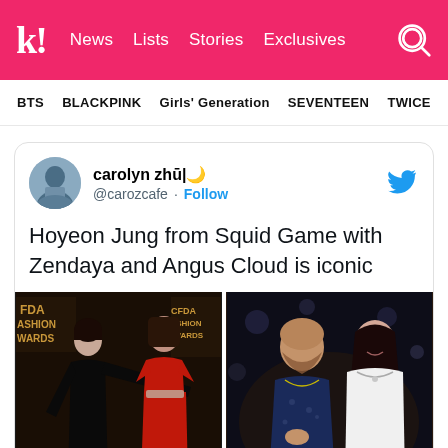k! News  Lists  Stories  Exclusives
BTS  BLACKPINK  Girls' Generation  SEVENTEEN  TWICE
carolyn zhū|🌙 @carozcafe · Follow
Hoyeon Jung from Squid Game with Zendaya and Angus Cloud is iconic
[Figure (photo): Two photos side by side: left shows Hoyeon Jung and Zendaya at CFDA Fashion Awards; right shows Angus Cloud and Hoyeon Jung at an event.]